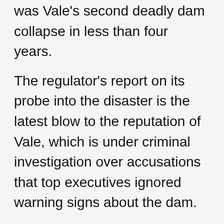was Vale's second deadly dam collapse in less than four years.
The regulator's report on its probe into the disaster is the latest blow to the reputation of Vale, which is under criminal investigation over accusations that top executives ignored warning signs about the dam.
Based on the report's findings, ANM will now assess the iron ore miner with 24 new fines. Officials said that the amount of each fine is capped at around 6,000 reais ($1,500) under Brazilian law.